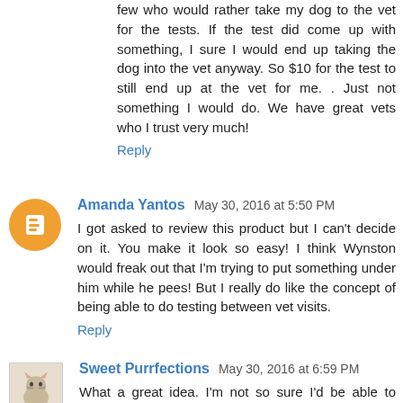few who would rather take my dog to the vet for the tests. If the test did come up with something, I sure I would end up taking the dog into the vet anyway. So $10 for the test to still end up at the vet for me. . Just not something I would do. We have great vets who I trust very much!
Reply
Amanda Yantos May 30, 2016 at 5:50 PM
I got asked to review this product but I can't decide on it. You make it look so easy! I think Wynston would freak out that I'm trying to put something under him while he pees! But I really do like the concept of being able to do testing between vet visits.
Reply
Sweet Purrfections May 30, 2016 at 6:59 PM
What a great idea. I'm not so sure I'd be able to capture urine from the girls. I'm a quick person to take the girls to the vet if they aren't acting right.